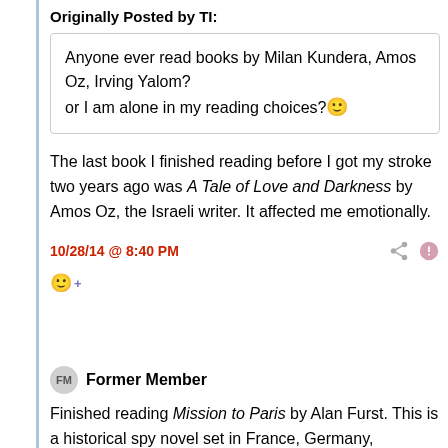Originally Posted by TI:
Anyone ever read books by Milan Kundera, Amos Oz, Irving Yalom?
or I am alone in my reading choices? :)
The last book I finished reading before I got my stroke two years ago was A Tale of Love and Darkness by Amos Oz, the Israeli writer. It affected me emotionally.
10/28/14 @ 8:40 PM
:) +
Former Member
Finished reading Mission to Paris by Alan Furst. This is a historical spy novel set in France, Germany, Morocco and Hungary in 1938-39. And it the novel